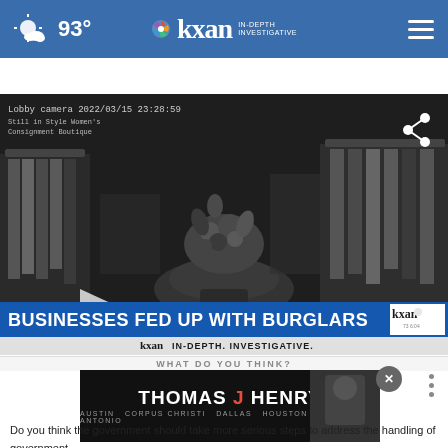KXAN IN-DEPTH INVESTIGATIVE | 93°
Where have burglaries in Austin gone up?
[Figure (screenshot): Security camera footage from lobby of Still in Style Women's Consignment Boutique dated 2022/03/15 23:28:59, showing clothing racks and a display table in black and white. Lower third graphic reads 'BUSINESSES FED UP WITH BURGLARS' with KXAN logo. Below that: 'kxan IN-DEPTH. INVESTIGATIVE.']
WHAT DO YOU THINK?
[Figure (advertisement): Thomas J Henry law firm advertisement with name in white text on black background, red J, cities listed: Austin, Corpus Christi, Dallas, Houston, San Antonio. Person in suit visible on right.]
Do you think the government should take more serious steps to address the handling of government...